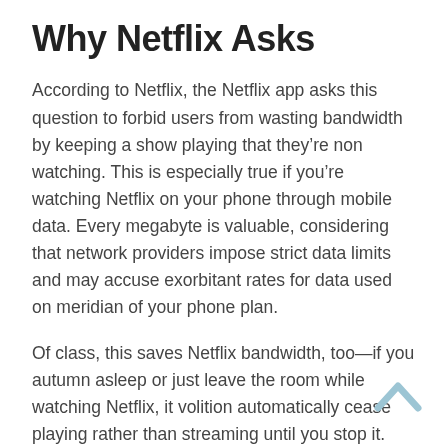Why Netflix Asks
According to Netflix, the Netflix app asks this question to forbid users from wasting bandwidth by keeping a show playing that they’re non watching. This is especially true if you’re watching Netflix on your phone through mobile data. Every megabyte is valuable, considering that network providers impose strict data limits and may accuse exorbitant rates for data used on meridian of your phone plan.
Of class, this saves Netflix bandwidth, too—if you autumn asleep or just leave the room while watching Netflix, it volition automatically cease playing rather than streaming until you stop it.
Netflix as well says this helps ensure you don’t lose your position in a serial when you resume information technology. If y’all fall asleep in the